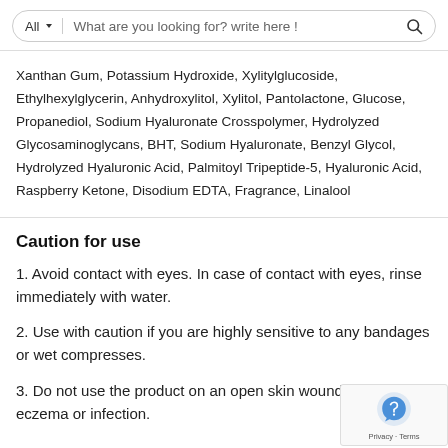[Figure (screenshot): Search bar with 'All' dropdown and placeholder text 'What are you looking for? write here !' with a search icon]
Xanthan Gum, Potassium Hydroxide, Xylitylglucoside, Ethylhexylglycerin, Anhydroxylitol, Xylitol, Pantolactone, Glucose, Propanediol, Sodium Hyaluronate Crosspolymer, Hydrolyzed Glycosaminoglycans, BHT, Sodium Hyaluronate, Benzyl Glycol, Hydrolyzed Hyaluronic Acid, Palmitoyl Tripeptide-5, Hyaluronic Acid, Raspberry Ketone, Disodium EDTA, Fragrance, Linalool
Caution for use
1. Avoid contact with eyes. In case of contact with eyes, rinse immediately with water.
2. Use with caution if you are highly sensitive to any bandages or wet compresses.
3. Do not use the product on an open skin wound or areas of eczema or infection.